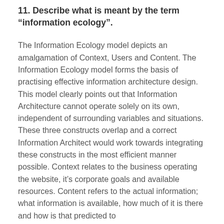11. Describe what is meant by the term "information ecology".
The Information Ecology model depicts an amalgamation of Context, Users and Content. The Information Ecology model forms the basis of practising effective information architecture design. This model clearly points out that Information Architecture cannot operate solely on its own, independent of surrounding variables and situations. These three constructs overlap and a correct Information Architect would work towards integrating these constructs in the most efficient manner possible. Context relates to the business operating the website, it's corporate goals and available resources. Content refers to the actual information; what information is available, how much of it is there and how is that predicted to